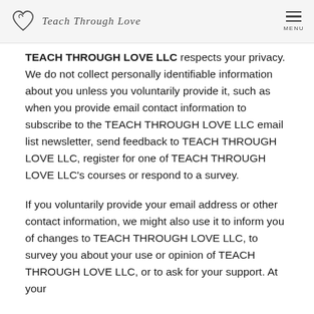Teach Through Love | MENU
TEACH THROUGH LOVE LLC respects your privacy. We do not collect personally identifiable information about you unless you voluntarily provide it, such as when you provide email contact information to subscribe to the TEACH THROUGH LOVE LLC email list newsletter, send feedback to TEACH THROUGH LOVE LLC, register for one of TEACH THROUGH LOVE LLC's courses or respond to a survey.
If you voluntarily provide your email address or other contact information, we might also use it to inform you of changes to TEACH THROUGH LOVE LLC, to survey you about your use or opinion of TEACH THROUGH LOVE LLC, or to ask for your support. At your...